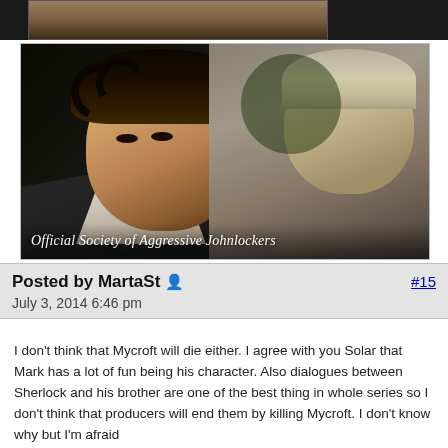[Figure (photo): Partial view of the top of a previous image showing what appears to be a hat or shoes against a dark background.]
[Figure (photo): A still from the BBC TV show Sherlock showing two characters facing each other closely. White italic text overlay reads: Official Society of Aggressive Johnlockers]
Posted by MartaSt  #15
July 3, 2014 6:46 pm
I don't think that Mycroft will die either. I agree with you Solar that Mark has a lot of fun being his character. Also dialogues between Sherlock and his brother are one of the best thing in whole series so I don't think that producers will end them by killing Mycroft. I don't know why but I'm afraid